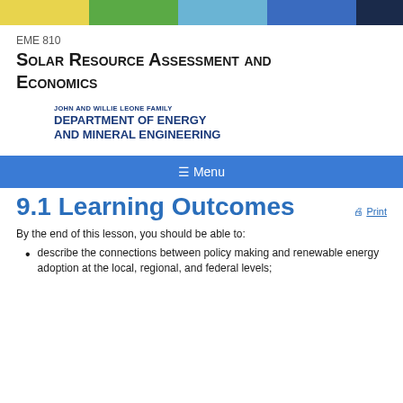[Figure (other): Decorative color bar with five segments: yellow, green, light blue, medium blue, dark navy]
EME 810
Solar Resource Assessment and Economics
JOHN AND WILLIE LEONE FAMILY
DEPARTMENT OF ENERGY AND MINERAL ENGINEERING
☰ Menu
9.1 Learning Outcomes
By the end of this lesson, you should be able to:
describe the connections between policy making and renewable energy adoption at the local, regional, and federal levels;